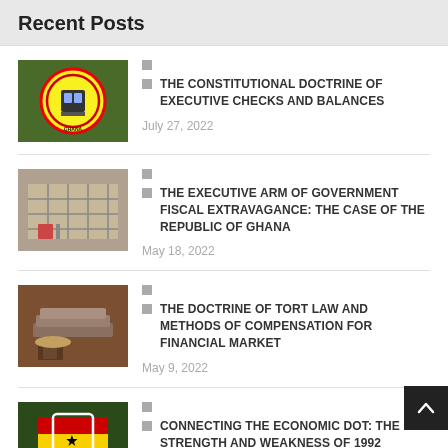Recent Posts
THE CONSTITUTIONAL DOCTRINE OF EXECUTIVE CHECKS AND BALANCES
July 27, 2022
THE EXECUTIVE ARM OF GOVERNMENT FISCAL EXTRAVAGANCE: THE CASE OF THE REPUBLIC OF GHANA
May 18, 2022
THE DOCTRINE OF TORT LAW AND METHODS OF COMPENSATION FOR FINANCIAL MARKET
May 9, 2022
CONNECTING THE ECONOMIC DOT: THE STRENGTH AND WEAKNESS OF 1992 CONSTITUTION OF THE REPUBLIC OF GHA...
May 2, 2022